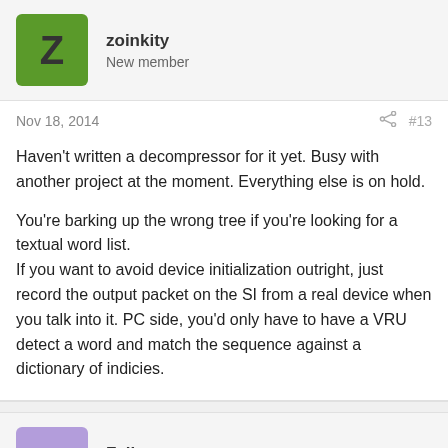zoinkity
New member
Nov 18, 2014
#13
Haven't written a decompressor for it yet. Busy with another project at the moment. Everything else is on hold.
You're barking up the wrong tree if you're looking for a textual word list.
If you want to avoid device initialization outright, just record the output packet on the SI from a real device when you talk into it. PC side, you'd only have to have a VRU detect a word and match the sequence against a dictionary of indicies.
Falkoner
New member